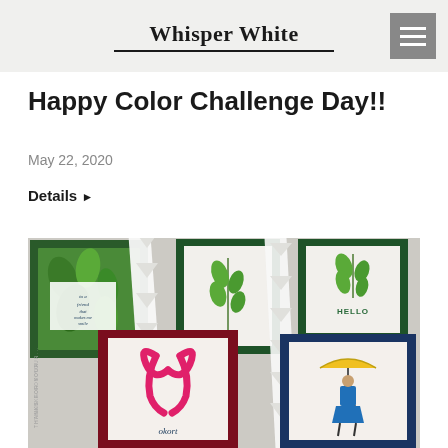Whisper White
Happy Color Challenge Day!!
May 22, 2020
Details ▶
[Figure (photo): A flat lay photo of multiple handmade greeting cards arranged on a grey surface. Cards feature green botanical leaf designs, HELLO sentiments, a pink awareness ribbon, and a figure holding a yellow umbrella. A white decorative ribbon weaves between the cards.]